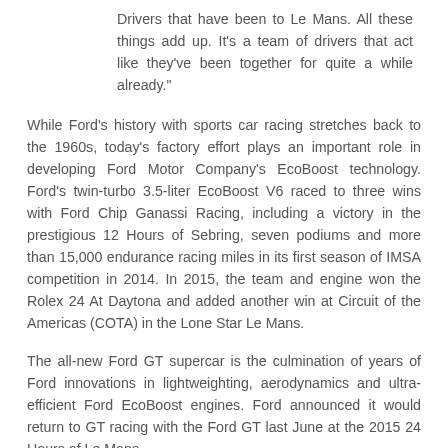Drivers that have been to Le Mans. All these things add up. It's a team of drivers that act like they've been together for quite a while already."
While Ford's history with sports car racing stretches back to the 1960s, today's factory effort plays an important role in developing Ford Motor Company's EcoBoost technology. Ford's twin-turbo 3.5-liter EcoBoost V6 raced to three wins with Ford Chip Ganassi Racing, including a victory in the prestigious 12 Hours of Sebring, seven podiums and more than 15,000 endurance racing miles in its first season of IMSA competition in 2014. In 2015, the team and engine won the Rolex 24 At Daytona and added another win at Circuit of the Americas (COTA) in the Lone Star Le Mans.
The all-new Ford GT supercar is the culmination of years of Ford innovations in lightweighting, aerodynamics and ultra-efficient Ford EcoBoost engines. Ford announced it would return to GT racing with the Ford GT last June at the 2015 24 Hours of Le Mans.